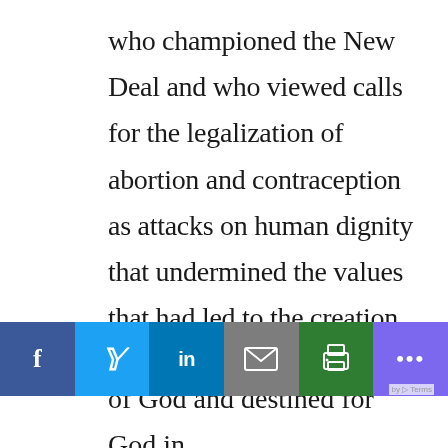who championed the New Deal and who viewed calls for the legalization of abortion and contraception as attacks on human dignity that undermined the values that had led to the creation of the social welfare programs they supported. Abortion reduced human beings to the “level of a beast or to that of a cog in the social mechanism, thus destroying
[Figure (infographic): Social media sharing toolbar with buttons for Facebook, Twitter, LinkedIn, Email, Print, and More (…)]
of God and destined for God in